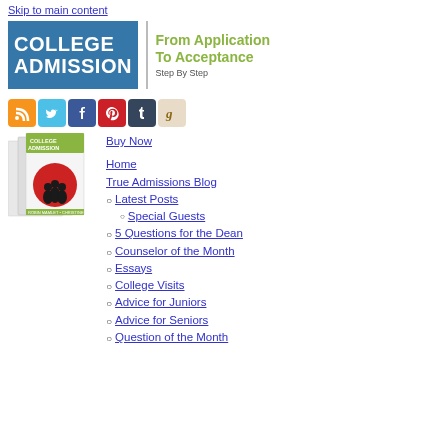Skip to main content
[Figure (logo): College Admission logo with blue background and green tagline 'From Application To Acceptance Step By Step']
[Figure (infographic): Social media icons: RSS (orange), Twitter (blue), Facebook (blue), Pinterest (red), Tumblr (dark blue), Goodreads (tan)]
[Figure (photo): Three copies of the College Admission book cover]
Buy Now
Home
True Admissions Blog
Latest Posts
Special Guests
5 Questions for the Dean
Counselor of the Month
Essays
College Visits
Advice for Juniors
Advice for Seniors
Question of the Month